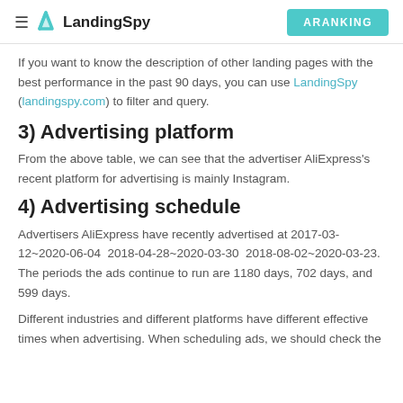LandingSpy | ARANKING
If you want to know the description of other landing pages with the best performance in the past 90 days, you can use LandingSpy (landingspy.com) to filter and query.
3) Advertising platform
From the above table, we can see that the advertiser AliExpress's recent platform for advertising is mainly Instagram.
4) Advertising schedule
Advertisers AliExpress have recently advertised at 2017-03-12~2020-06-04  2018-04-28~2020-03-30  2018-08-02~2020-03-23. The periods the ads continue to run are 1180 days, 702 days, and 599 days.
Different industries and different platforms have different effective times when advertising. When scheduling ads, we should check the